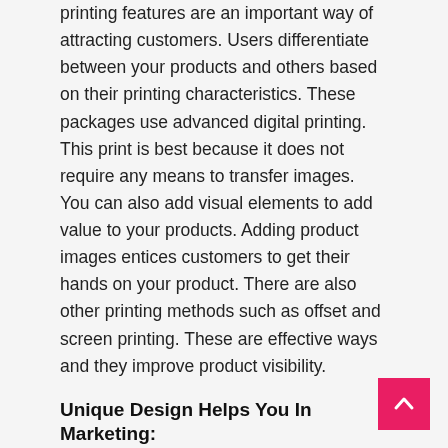printing features are an important way of attracting customers. Users differentiate between your products and others based on their printing characteristics. These packages use advanced digital printing. This print is best because it does not require any means to transfer images. You can also add visual elements to add value to your products. Adding product images entices customers to get their hands on your product. There are also other printing methods such as offset and screen printing. These are effective ways and they improve product visibility.
Unique Design Helps You In Marketing:
Personalized boxes with a unique design will help you drive competition. These beautiful packages have a built-in window. Customers can view the products directly. This will help increase their interest in buying your product. Experts recommend